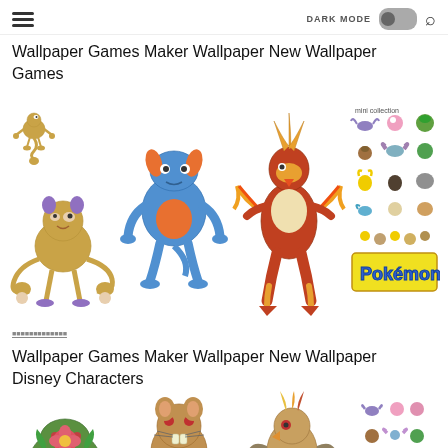DARK MODE  [toggle]  [search]
Wallpaper Games Maker Wallpaper New Wallpaper Games
[Figure (photo): Grid of Pokemon character illustrations: Aipom and Ambipom, Swampert, Blaziken, and a collection sheet of many Pokemon on the top row; Spheal/Walrein, Zigzagoon, Makuhita, tiny Pokemon figures, and a Pokemon logo card on the bottom row.]
source label url
Wallpaper Games Maker Wallpaper New Wallpaper Disney Characters
[Figure (photo): Partial grid of Pokemon illustrations: Venusaur, Raticate, Pidgeot, and a small collection sheet of Pokemon.]